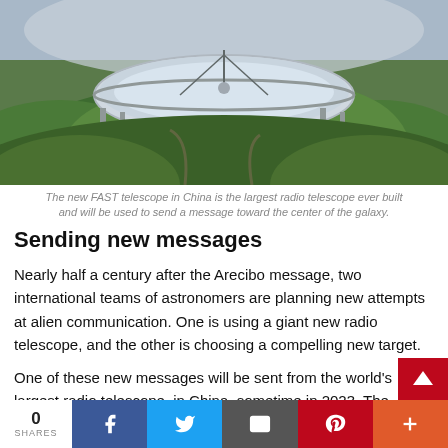[Figure (photo): Aerial view of the FAST radio telescope in China — a massive circular dish surrounded by green forested hills]
The new FAST telescope in China is the largest radio telescope ever built and will be used to send a message toward the center of the galaxy.
Sending new messages
Nearly half a century after the Arecibo message, two international teams of astronomers are planning new attempts at alien communication. One is using a giant new radio telescope, and the other is choosing a compelling new target.
One of these new messages will be sent from the world's largest radio telescope, in China, sometime in 2023. The telescope, with a 1,640-foot (500-meter) diameter, will